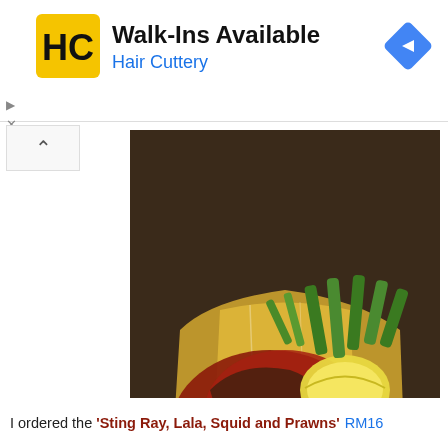[Figure (other): Hair Cuttery advertisement banner with HC logo, text Walk-Ins Available and Hair Cuttery, and a navigation arrow icon]
[Figure (photo): Close-up photo of a Southeast Asian seafood dish: stingray, lala clams, squid and prawns cooked in spicy sambal sauce, served in aluminium foil on a plate, with green vegetables visible]
I ordered the 'Sting Ray, Lala, Squid and Prawns' RM16